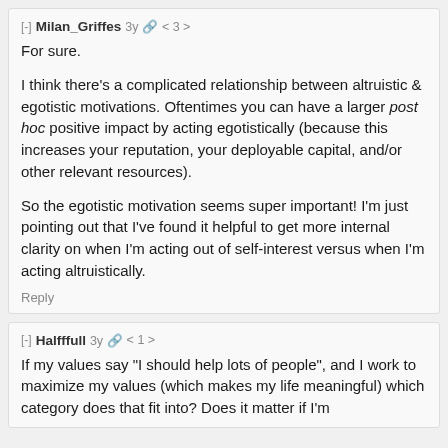[-] Milan_Griffes 3y 🔗 < 3 >
For sure.

I think there's a complicated relationship between altruistic & egotistic motivations. Oftentimes you can have a larger post hoc positive impact by acting egotistically (because this increases your reputation, your deployable capital, and/or other relevant resources).

So the egotistic motivation seems super important! I'm just pointing out that I've found it helpful to get more internal clarity on when I'm acting out of self-interest versus when I'm acting altruistically.

Reply
[-] Halfffull 3y 🔗 < 1 >
If my values say "I should help lots of people", and I work to maximize my values (which makes my life meaningful) which category does that fit into? Does it matter if I'm